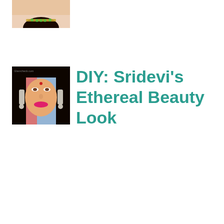[Figure (photo): Partial photo of a woman wearing a saree with a gold necklace, showing neck and lower face with dark hair, cropped at top of page]
[Figure (photo): Photo of Sridevi, a Bollywood actress, wearing traditional Indian jewelry including large chandelier earrings, a bindi on her forehead, and pink lipstick, with long dark wavy hair. Glamcheck.com watermark visible in top left.]
DIY: Sridevi’s Ethereal Beauty Look